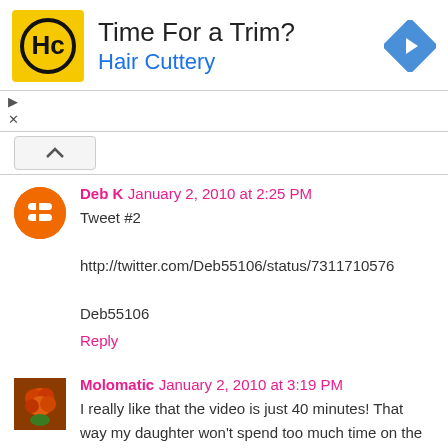[Figure (advertisement): Hair Cuttery ad banner with HC logo, 'Time For a Trim?' heading, 'Hair Cuttery' subheading in blue, navigation arrow icon, and ad controls (play/close)]
Deb K January 2, 2010 at 2:25 PM
Tweet #2

http://twitter.com/Deb55106/status/7311710576

Deb55106
Reply
Molomatic January 2, 2010 at 3:19 PM
I really like that the video is just 40 minutes! That way my daughter won't spend too much time on the couch!
Reply